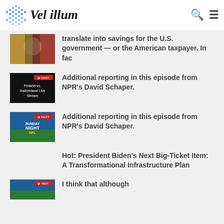Vel illum
translate into savings for the U.S. government — or the American taxpayer. In fac
[Figure (screenshot): Finland vs. Switzerland Live Stream thumbnail with red label]
Additional reporting in this episode from NPR's David Schaper.
[Figure (screenshot): Sunday Night NFL thumbnail with red label]
Additional reporting in this episode from NPR's David Schaper.
Hot: President Biden's Next Big-Ticket Item: A Transformational Infrastructure Plan
[Figure (screenshot): Sports broadcast thumbnail with red label]
I think that although